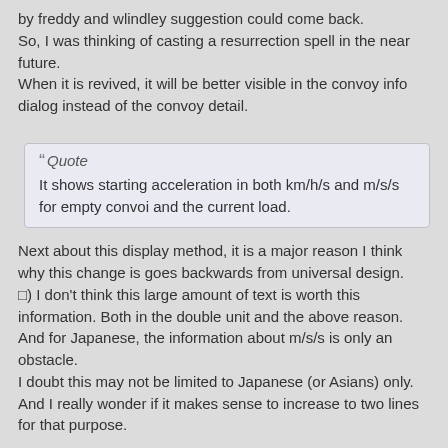by freddy and wlindley suggestion could come back.
So, I was thinking of casting a resurrection spell in the near future.
When it is revived, it will be better visible in the convoy info dialog instead of the convoy detail.
Quote
It shows starting acceleration in both km/h/s and m/s/s for empty convoi and the current load.
Next about this display method, it is a major reason I think why this change is goes backwards from universal design.
?) I don't think this large amount of text is worth this information. Both in the double unit and the above reason. And for Japanese, the information about m/s/s is only an obstacle.
I doubt this may not be limited to Japanese (or Asians) only.
And I really wonder if it makes sense to increase to two lines for that purpose.
9) As I said before, the unit system with different acceleration even though the speed is expressed in km/h is confusing. It will make the graph harder to read as well.